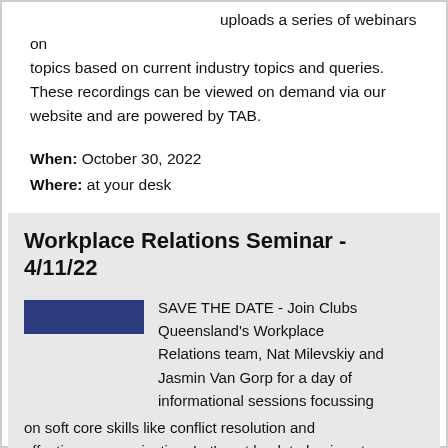uploads a series of webinars on topics based on current industry topics and queries. These recordings can be viewed on demand via our website and are powered by TAB.
When: October 30, 2022
Where: at your desk
Workplace Relations Seminar - 4/11/22
[Figure (other): Dark blue/navy rectangular banner image]
SAVE THE DATE - Join Clubs Queensland's Workplace Relations team, Nat Milevskiy and Jasmin Van Gorp for a day of informational sessions focussing on soft core skills like conflict resolution and effective communication. Let's get back to basics at